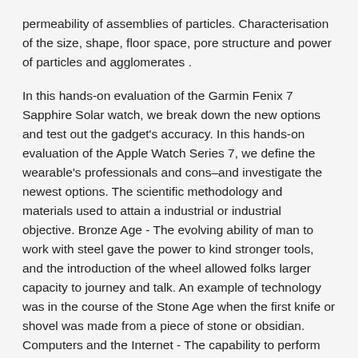permeability of assemblies of particles. Characterisation of the size, shape, floor space, pore structure and power of particles and agglomerates .
In this hands-on evaluation of the Garmin Fenix 7 Sapphire Solar watch, we break down the new options and test out the gadget's accuracy. In this hands-on evaluation of the Apple Watch Series 7, we define the wearable's professionals and cons–and investigate the newest options. The scientific methodology and materials used to attain a industrial or industrial objective. Bronze Age - The evolving ability of man to work with steel gave the power to kind stronger tools, and the introduction of the wheel allowed folks larger capacity to journey and talk. An example of technology was in the course of the Stone Age when the first knife or shovel was made from a piece of stone or obsidian. Computers and the Internet - The capability to perform fundamental pondering processes a lot faster allows enterprise, science and commerce to proceed rather more efficiently.